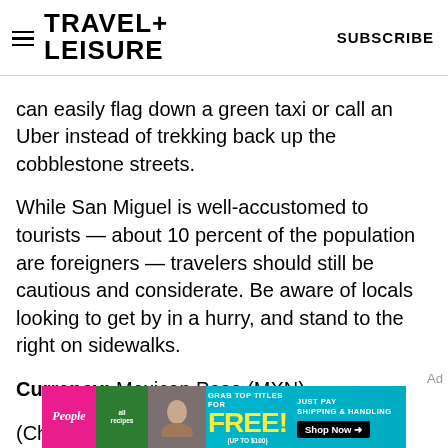TRAVEL+ LEISURE | SUBSCRIBE
can easily flag down a green taxi or call an Uber instead of trekking back up the cobblestone streets.
While San Miguel is well-accustomed to tourists — about 10 percent of the population are foreigners — travelers should still be cautious and considerate. Be aware of locals looking to get by in a hurry, and stand to the right on sidewalks.
Currency: Mexican Peso (MXN)
(Check the current exchange rate)
Language: Spanish
[Figure (infographic): Advertisement banner for magazine subscription deal — People, allrecipes, and other magazines offered free, just pay shipping and handling. Shop Now button.]